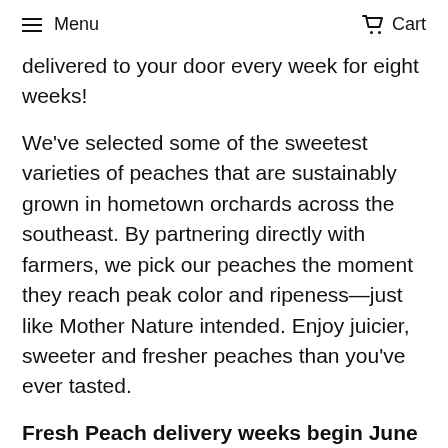Menu  Cart
delivered to your door every week for eight weeks!
We've selected some of the sweetest varieties of peaches that are sustainably grown in hometown orchards across the southeast. By partnering directly with farmers, we pick our peaches the moment they reach peak color and ripeness—just like Mother Nature intended. Enjoy juicier, sweeter and fresher peaches than you've ever tasted.
Fresh Peach delivery weeks begin June 6th and continue through the week of July 25th.
Flexible Schedule